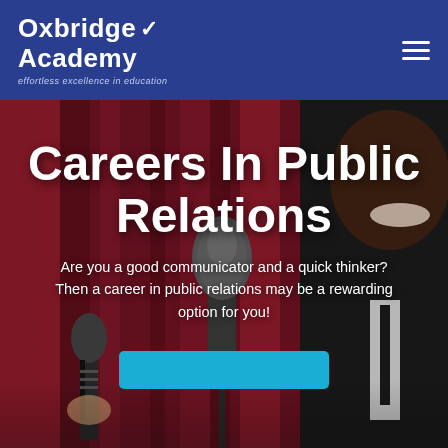Oxbridge Academy — effortless excellence in education
[Figure (photo): Hero banner image showing a smiling Black man in a suit being interviewed with microphones in front, against a red curtain background. Text overlay reads 'Careers In Public Relations' and a subtitle.]
Careers In Public Relations
Are you a good communicator and a quick thinker? Then a career in public relations may be a rewarding option for you!